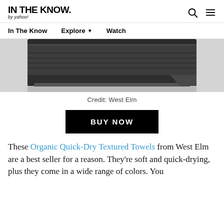IN THE KNOW. by yahoo!
[Figure (photo): A dark grey/charcoal folded towel on a light grey surface, photographed from above showing texture and folds.]
Credit: West Elm
BUY NOW
These Organic Quick-Dry Textured Towels from West Elm are a best seller for a reason. They’re soft and quick-drying, plus they come in a wide range of colors. You